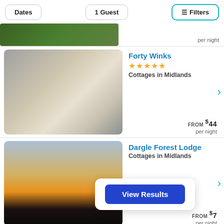Dates | 1 Guest | Filters
[Figure (photo): Partial green garden/lawn photo cropped at top, with 'per night' text to the right]
per night
[Figure (photo): Living room interior with sofas, rug, shelves, and large window]
Forty Winks
★★★★★
Cottages in Midlands
FROM $44
per night
[Figure (photo): Sunset landscape with mountain silhouette and cabin]
Dargle Forest Lodge
Cottages in Midlands
FROM $7
per night
[Figure (screenshot): View Results popup button overlay]
Waterwoods (Fort Nottin...